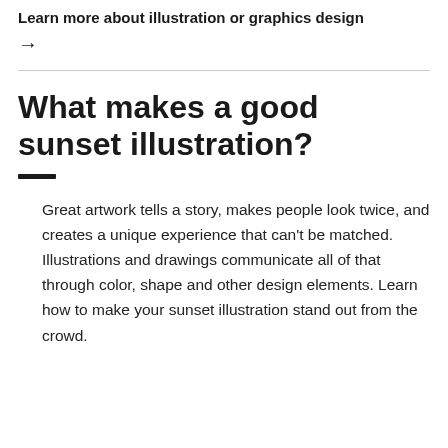Learn more about illustration or graphics design
→
What makes a good sunset illustration?
Great artwork tells a story, makes people look twice, and creates a unique experience that can't be matched. Illustrations and drawings communicate all of that through color, shape and other design elements. Learn how to make your sunset illustration stand out from the crowd.